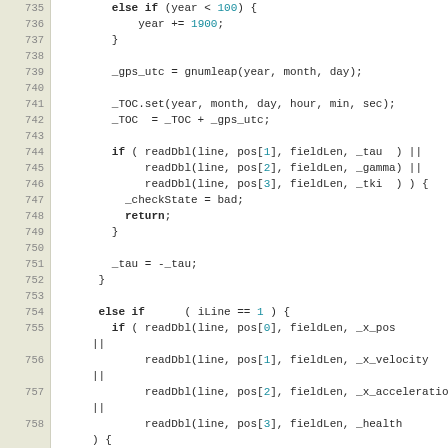[Figure (screenshot): Source code listing in monospace font with line numbers 735-761, showing C++ code for GPS/navigation data parsing including conditional branches, readDbl calls, and variable assignments.]